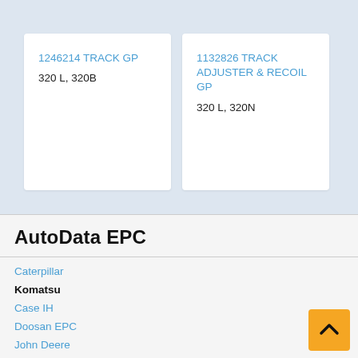1246214 TRACK GP
320 L, 320B
1132826 TRACK ADJUSTER & RECOIL GP
320 L, 320N
AutoData EPC
Caterpillar
Komatsu
Case IH
Doosan EPC
John Deere